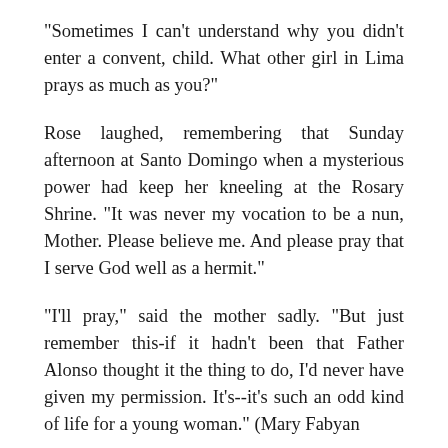"Sometimes I can't understand why you didn't enter a convent, child. What other girl in Lima prays as much as you?"
Rose laughed, remembering that Sunday afternoon at Santo Domingo when a mysterious power had keep her kneeling at the Rosary Shrine. "It was never my vocation to be a nun, Mother. Please believe me. And please pray that I serve God well as a hermit."
"I'll pray," said the mother sadly. "But just remember this-if it hadn't been that Father Alonso thought it the thing to do, I'd never have given my permission. It's--it's such an odd kind of life for a young woman." (Mary Fabyan